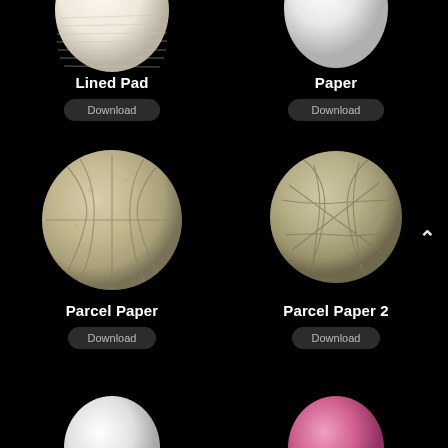[Figure (illustration): 3D rendered sphere with lined pad texture, cream/white color with horizontal lines, partially cropped at top]
[Figure (illustration): 3D rendered sphere with white paper texture, smooth white surface, partially cropped at top]
Lined Pad
Download
Paper
Download
[Figure (illustration): 3D rendered sphere with parcel paper texture, tan/beige crumpled paper with fold lines]
[Figure (illustration): 3D rendered sphere with parcel paper 2 texture, tan/beige heavily wrinkled paper]
Parcel Paper
Download
Parcel Paper 2
Download
[Figure (illustration): Bottom of page: partial view of two more spheres (white and pink), cropped]
[Figure (other): Scroll-up arrow (^) button on right side]